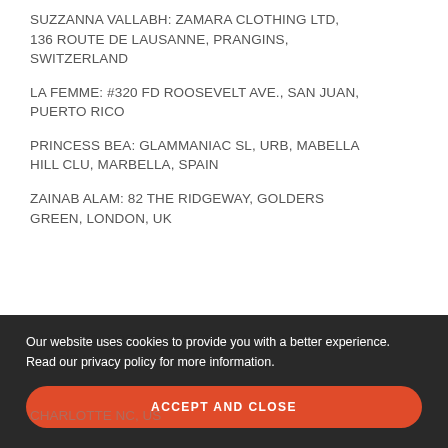SUZZANNA VALLABH: ZAMARA CLOTHING LTD, 136 ROUTE DE LAUSANNE, PRANGINS, SWITZERLAND
LA FEMME: #320 FD ROOSEVELT AVE., SAN JUAN, PUERTO RICO
PRINCESS BEA: GLAMMANIAC SL, URB, MABELLA HILL CLU, MARBELLA, SPAIN
ZAINAB ALAM: 82 THE RIDGEWAY, GOLDERS GREEN, LONDON, UK
OKRA: 340 WORTH AVENUE, # F A, PALM BEACH, FLORIDA
CHARLOTTE NC, US
Our website uses cookies to provide you with a better experience. Read our privacy policy for more information.
ACCEPT AND CLOSE